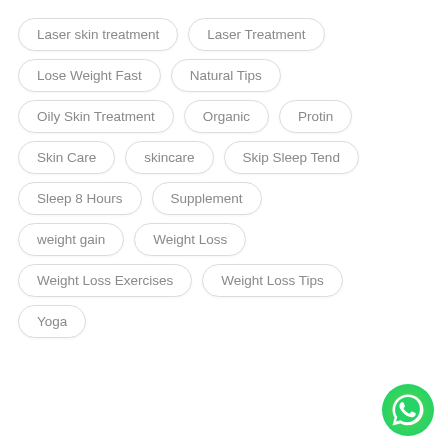Laser skin treatment
Laser Treatment
Lose Weight Fast
Natural Tips
Oily Skin Treatment
Organic
Protin
Skin Care
skincare
Skip Sleep Tend
Sleep 8 Hours
Supplement
weight gain
Weight Loss
Weight Loss Exercises
Weight Loss Tips
Yoga
[Figure (logo): WhatsApp green circular icon in bottom-right corner]